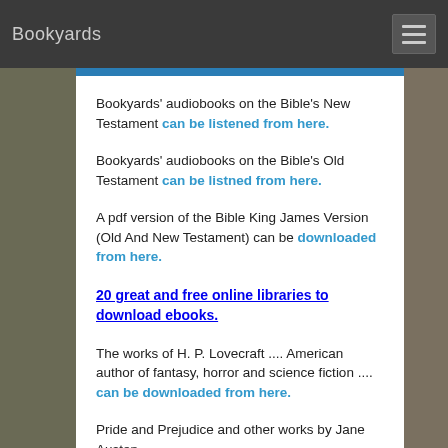Bookyards
Bookyards' audiobooks on the Bible's New Testament can be listened from here.
Bookyards' audiobooks on the Bible's Old Testament can be listned from here.
A pdf version of the Bible King James Version (Old And New Testament) can be downloaded from here.
20 great and free online libraries to download ebooks.
The works of H. P. Lovecraft .... American author of fantasy, horror and science fiction .... can be downloaded from here.
Pride and Prejudice and other works by Jane Austen